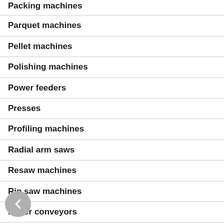Packing machines
Parquet machines
Pellet machines
Polishing machines
Power feeders
Presses
Profiling machines
Radial arm saws
Resaw machines
Rip saw machines
Roller conveyors
Sanding machines
Saws - spindle moulders
Seam folding machines